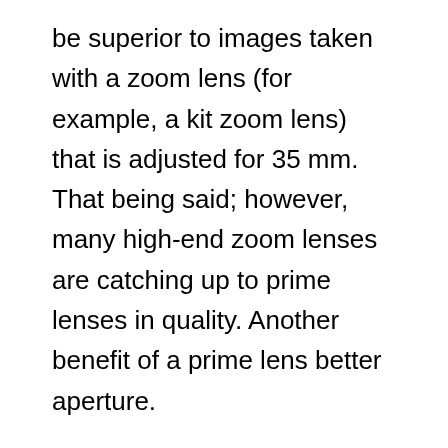be superior to images taken with a zoom lens (for example, a kit zoom lens) that is adjusted for 35 mm. That being said; however, many high-end zoom lenses are catching up to prime lenses in quality. Another benefit of a prime lens better aperture.
The primary cons of prime lenses are their lack of flexibility and cost. With a prime lens, you have to experiment a lot more with light, angle, and distance. And it will cost you substantially more to have a full